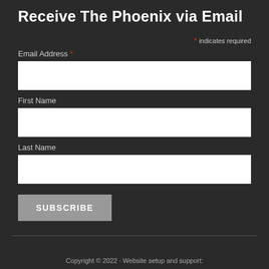Receive The Phoenix via Email
* indicates required
Email Address *
First Name
Last Name
SUBSCRIBE
Copyright © 2022 · Website setup and support: